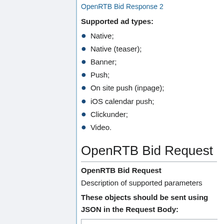OpenRTB Bid Response 2
Supported ad types:
Native;
Native (teaser);
Banner;
Push;
On site push (inpage);
iOS calendar push;
Clickunder;
Video.
OpenRTB Bid Request
OpenRTB Bid Request
Description of supported parameters
These objects should be sent using JSON in the Request Body: